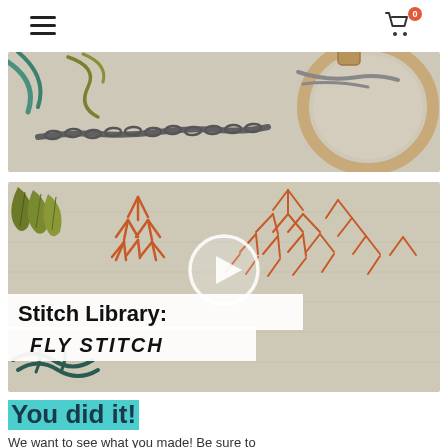≡  🛒 0
[Figure (photo): Close-up photo of embroidery hoop with dark chain/stem stitch stitching on beige linen fabric, with teal thread visible at top left]
[Figure (screenshot): Video thumbnail showing orange fly stitch embroidery on linen fabric with a play button circle, overlaid text reading 'Stitch Library: FLY STITCH']
You did it!
We want to see what you made! Be sure to